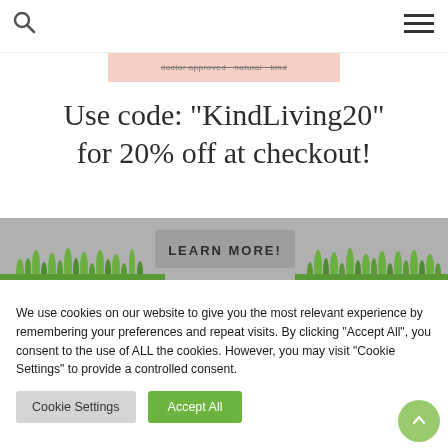Search and navigation header
[Figure (illustration): Pink banner strip with faint strikethrough text]
Use code: "KindLiving20" for 20% off at checkout!
[Figure (illustration): Learn More button with decorative grass/plant illustration on both sides on a gray background]
We use cookies on our website to give you the most relevant experience by remembering your preferences and repeat visits. By clicking “Accept All”, you consent to the use of ALL the cookies. However, you may visit "Cookie Settings" to provide a controlled consent.
Cookie Settings | Accept All